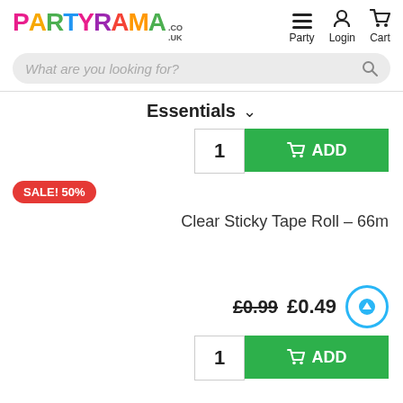[Figure (logo): Partyrama.co.uk logo in multicolor letters]
[Figure (infographic): Navigation icons: hamburger menu (Party), person (Login), cart (Cart)]
[Figure (infographic): Search bar with placeholder text 'What are you looking for?' and search icon]
Essentials ∨
[Figure (infographic): Quantity box showing 1 and green ADD button with cart icon]
SALE! 50%
Clear Sticky Tape Roll – 66m
£0.99  £0.49
[Figure (infographic): Quantity box showing 1 and green ADD button with cart icon, with blue circular up arrow button]